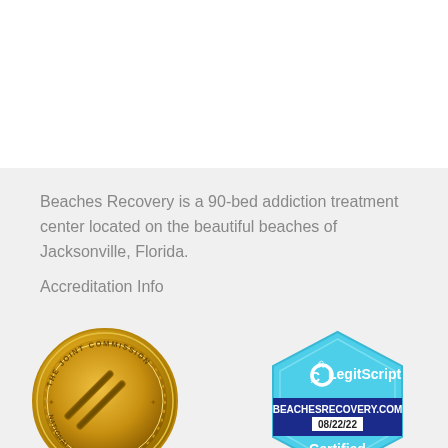Beaches Recovery is a 90-bed addiction treatment center located on the beautiful beaches of Jacksonville, Florida.
Accreditation Info
[Figure (logo): The Joint Commission National Quality Approval gold seal badge]
[Figure (logo): LegitScript Certified badge for BEACHESRECOVERY.COM 08/22/22]
[Figure (logo): Partial gold badge visible at bottom of page]